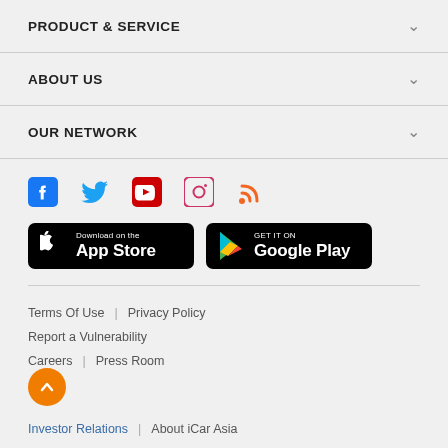PRODUCT & SERVICE
ABOUT US
OUR NETWORK
[Figure (infographic): Social media icons row: Facebook, Twitter, YouTube, Instagram, RSS]
[Figure (infographic): App store badges: Download on the App Store, Get it on Google Play]
Terms Of Use | Privacy Policy
Report a Vulnerability
Careers | Press Room
Investor Relations | About iCar Asia